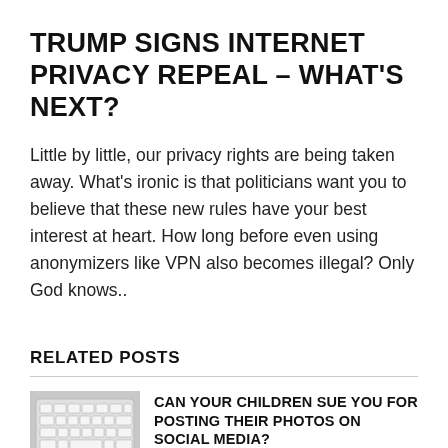TRUMP SIGNS INTERNET PRIVACY REPEAL – WHAT'S NEXT?
Little by little, our privacy rights are being taken away. What's ironic is that politicians want you to believe that these new rules have your best interest at heart. How long before even using anonymizers like VPN also becomes illegal? Only God knows..
RELATED POSTS
[Figure (photo): Thumbnail photo of a keyboard (keys visible, white/grey tones)]
CAN YOUR CHILDREN SUE YOU FOR POSTING THEIR PHOTOS ON SOCIAL MEDIA?
No Comments | Nov 12, 2018